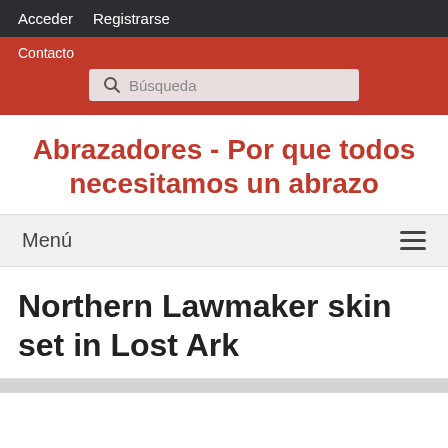Acceder   Registrarse
Contacto
Búsqueda
Abrazadores - Por que todos necesitamos un abrazo
Menú
Northern Lawmaker skin set in Lost Ark